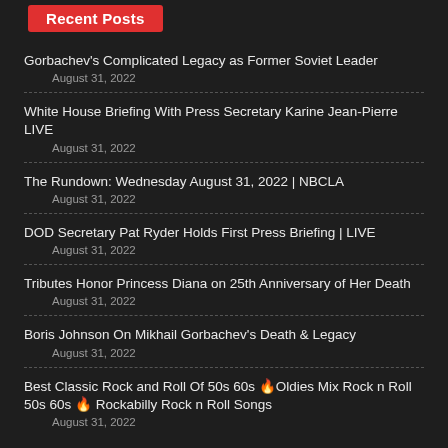Recent Posts
Gorbachev’s Complicated Legacy as Former Soviet Leader
August 31, 2022
White House Briefing With Press Secretary Karine Jean-Pierre LIVE
August 31, 2022
The Rundown: Wednesday August 31, 2022 | NBCLA
August 31, 2022
DOD Secretary Pat Ryder Holds First Press Briefing | LIVE
August 31, 2022
Tributes Honor Princess Diana on 25th Anniversary of Her Death
August 31, 2022
Boris Johnson On Mikhail Gorbachev’s Death & Legacy
August 31, 2022
Best Classic Rock and Roll Of 50s 60s 🔥Oldies Mix Rock n Roll 50s 60s 🔥 Rockabilly Rock n Roll Songs
August 31, 2022